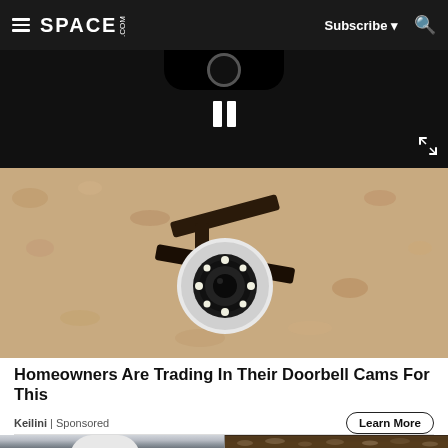SPACE.com — Subscribe — Search
[Figure (screenshot): Video player overlay with pause button (two vertical bars) and expand icon on dark background, above a photo of a security camera mounted on a textured beige/tan wall]
Homeowners Are Trading In Their Doorbell Cams For This
Keilini | Sponsored
[Figure (photo): Two images side by side partially visible at the bottom: left shows a person with gray/white hair, right shows food in a pan]